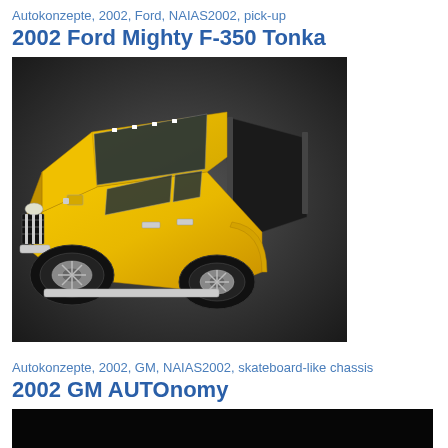Autokonzepte, 2002, Ford, NAIAS2002, pick-up
2002 Ford Mighty F-350 Tonka
[Figure (photo): Overhead-angled view of a yellow 2002 Ford Mighty F-350 Tonka concept truck on a dark background, showing the roof, hood, front grille, and truck bed.]
Autokonzepte, 2002, GM, NAIAS2002, skateboard-like chassis
2002 GM AUTOnomy
[Figure (photo): Dark/black image showing the beginning of a 2002 GM AUTOnomy concept vehicle photo, mostly obscured by page crop.]